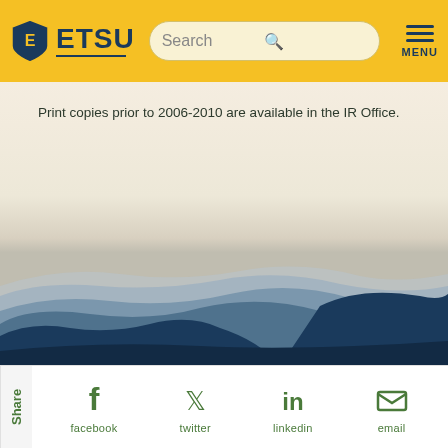ETSU
Print copies prior to 2006-2010 are available in the IR Office.
[Figure (illustration): Mountain landscape illustration with layered blue/grey mountain silhouettes against a warm cream/beige sky background, styled as an ETSU branding image.]
Share | facebook | twitter | linkedin | email